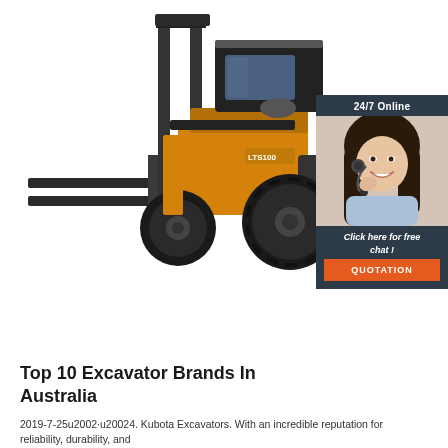[Figure (photo): A yellow and black forklift (LTS100 model) on a white background, facing left with forks extended. The vehicle has large black tyres and an enclosed operator cab.]
[Figure (infographic): A customer service chat widget with dark navy background. Shows '24/7 Online' header, a photo of a smiling woman with a headset, text 'Click here for free chat!' and an orange 'QUOTATION' button.]
Top 10 Excavator Brands In Australia
2019-7-25u2002·u20024. Kubota Excavators. With an incredible reputation for reliability, durability, and